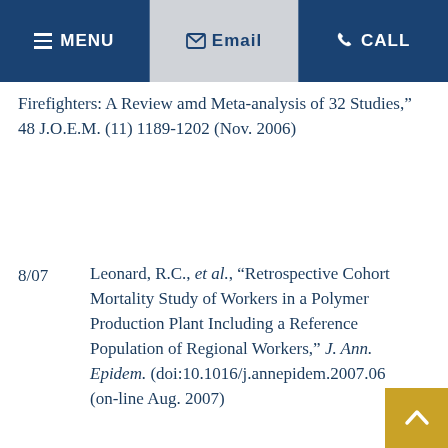MENU  Email  CALL
Firefighters: A Review amd Meta-analysis of 32 Studies,” 48 J.O.E.M. (11) 1189-1202 (Nov. 2006)
8/07    Leonard, R.C., et al., “Retrospective Cohort Mortality Study of Workers in a Polymer Production Plant Including a Reference Population of Regional Workers,” J. Ann. Epidem. (doi:10.1016/j.annepidem.2007.06 (on-line Aug. 2007)